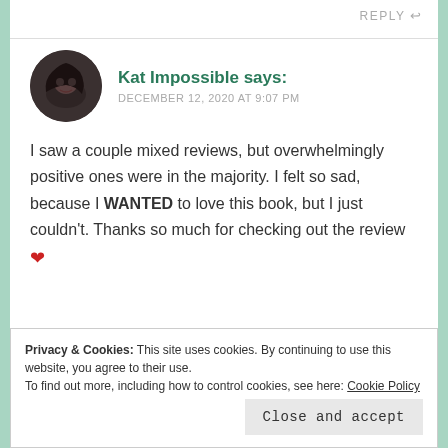REPLY
[Figure (photo): Circular avatar photo of Kat Impossible — a person with dark hair]
Kat Impossible says:
DECEMBER 12, 2020 AT 9:07 PM
I saw a couple mixed reviews, but overwhelmingly positive ones were in the majority. I felt so sad, because I WANTED to love this book, but I just couldn't. Thanks so much for checking out the review ❤
Privacy & Cookies: This site uses cookies. By continuing to use this website, you agree to their use.
To find out more, including how to control cookies, see here: Cookie Policy
Close and accept